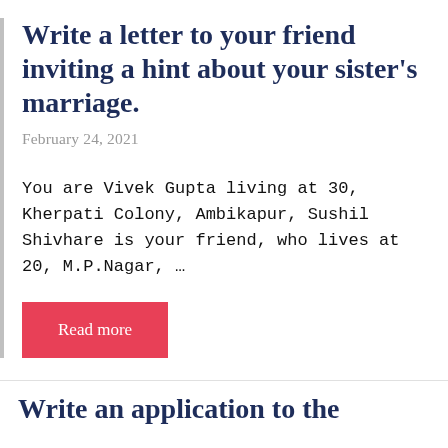Write a letter to your friend inviting a hint about your sister’s marriage.
February 24, 2021
You are Vivek Gupta living at 30, Kherpati Colony, Ambikapur, Sushil Shivhare is your friend, who lives at 20, M.P.Nagar, …
Read more
Write an application to the